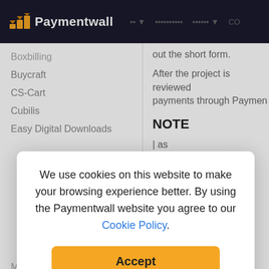Paymentwall
Boxbilling
Buycraft
CS-Cart
Cubilis
Easy Digital Downloads
out the short form.
After the project is reviewed payments through Paymen
NOTE
| as Pay
Magento 2
Minecraft Market
We use cookies on this website to make your browsing experience better. By using the Paymentwall website you agree to our Cookie Policy.
Accept